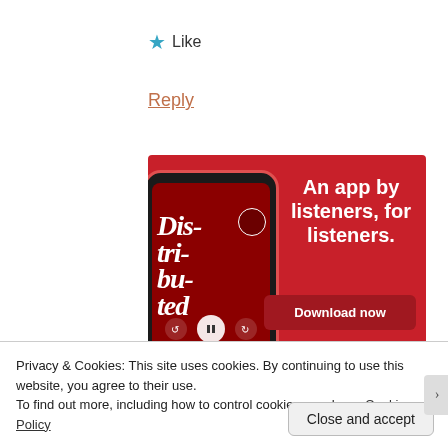★ Like
Reply
[Figure (screenshot): Advertisement for a podcast app showing a smartphone with podcast 'Distributed' playing, red background with text 'An app by listeners, for listeners.' and a 'Download now' button.]
Privacy & Cookies: This site uses cookies. By continuing to use this website, you agree to their use.
To find out more, including how to control cookies, see here: Cookie Policy